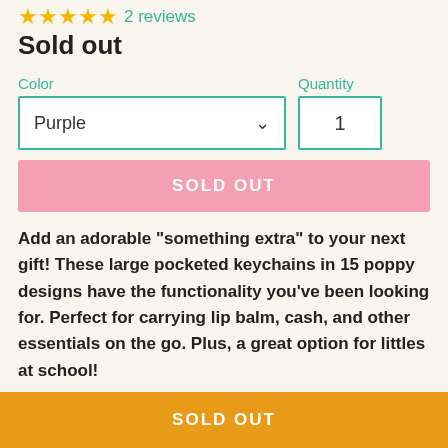★★★★★ 2 reviews
Sold out
Color
Quantity
Purple
1
SOLD OUT
Add an adorable "something extra" to your next gift! These large pocketed keychains in 15 poppy designs have the functionality you've been looking for. Perfect for carrying lip balm, cash, and other essentials on the go. Plus, a great option for littles at school!
SOLD OUT